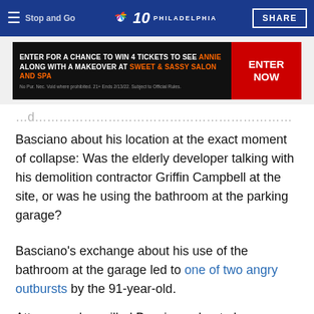≡ Stop and Go  NBC 10 PHILADELPHIA  SHARE
[Figure (other): Advertisement banner: ENTER FOR A CHANCE TO WIN 4 TICKETS TO SEE ANNIE ALONG WITH A MAKEOVER AT SWEET & SASSY SALON AND SPA. No Pur. Nec. Void where prohibited. 21+ Ends 2/13/22. Subject to Official Rules. ENTER NOW]
Basciano about his location at the exact moment of collapse: Was the elderly developer talking with his demolition contractor Griffin Campbell at the site, or was he using the bathroom at the parking garage?
Basciano's exchange about his use of the bathroom at the garage led to one of two angry outbursts by the 91-year-old.
Attorneys also grilled Basciano about phone records that allegedly showed Basciano and his wife calling the manager of the parking garage at the same time minutes after the collapse.